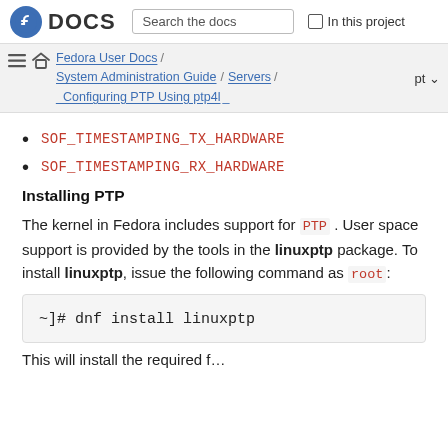Fedora DOCS | Search the docs | In this project
Fedora User Docs / System Administration Guide / Servers / _Configuring PTP Using ptp4l _ | pt
SOF_TIMESTAMPING_TX_HARDWARE
SOF_TIMESTAMPING_RX_HARDWARE
Installing PTP
The kernel in Fedora includes support for PTP. User space support is provided by the tools in the linuxptp package. To install linuxptp, issue the following command as root:
~]# dnf install linuxptp
This will install the required f…